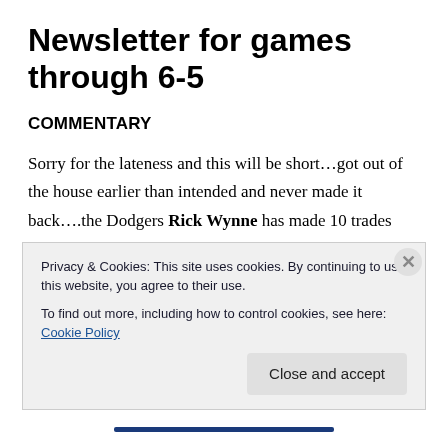Newsletter for games through 6-5
COMMENTARY
Sorry for the lateness and this will be short…got out of the house earlier than intended and never made it back….the Dodgers Rick Wynne has made 10 trades with 10 different owners this year…impressive and very collegial…briefly bragging on the Mets, no middle reliever has a
Privacy & Cookies: This site uses cookies. By continuing to use this website, you agree to their use.
To find out more, including how to control cookies, see here: Cookie Policy
Close and accept